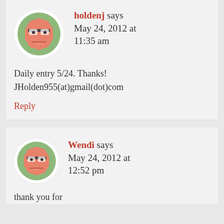[Figure (illustration): Cartoon avatar: a grumpy-faced octagonal robot/character with glasses, pink/salmon face, green circular background]
holdenj says May 24, 2012 at 11:35 am
Daily entry 5/24. Thanks! JHolden955(at)gmail(dot)com
Reply
[Figure (illustration): Cartoon avatar: a grumpy-faced octagonal robot/character with glasses, pink/salmon face, green circular background]
Wendi says May 24, 2012 at 12:52 pm
thank you for